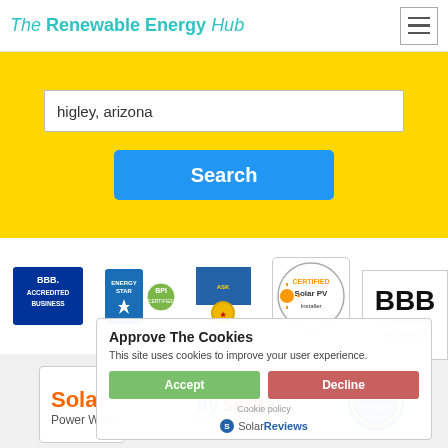The Renewable Energy Hub
higley, arizona
Search
[Figure (logo): BBB Accredited Business logo]
[Figure (logo): Energy Star / BPI logos]
[Figure (logo): Ask the Seal award badge]
[Figure (logo): Certified Solar PV Installer badge]
[Figure (logo): Angie's List logo]
[Figure (logo): Solar Power World logo]
[Figure (logo): NYSERDA logo]
[Figure (logo): SolarReview 2015 certified badge]
[Figure (logo): BBB logo large]
Approve The Cookies
This site uses cookies to improve your user experience.
Accept
Decline
Cookie policy
[Figure (logo): SolarReviews logo]